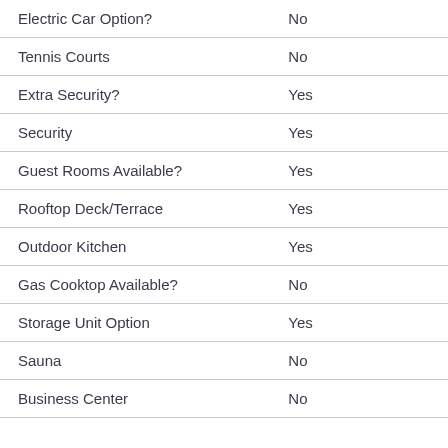| Feature | Value |
| --- | --- |
| Electric Car Option? | No |
| Tennis Courts | No |
| Extra Security? | Yes |
| Security | Yes |
| Guest Rooms Available? | Yes |
| Rooftop Deck/Terrace | Yes |
| Outdoor Kitchen | Yes |
| Gas Cooktop Available? | No |
| Storage Unit Option | Yes |
| Sauna | No |
| Business Center | No |